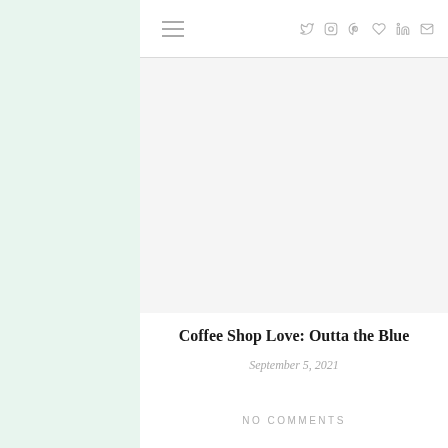≡  Twitter Instagram Pinterest Heart LinkedIn Mail
[Figure (photo): Blank white image placeholder area for a coffee shop blog post]
Coffee Shop Love: Outta the Blue
September 5, 2021
NO COMMENTS